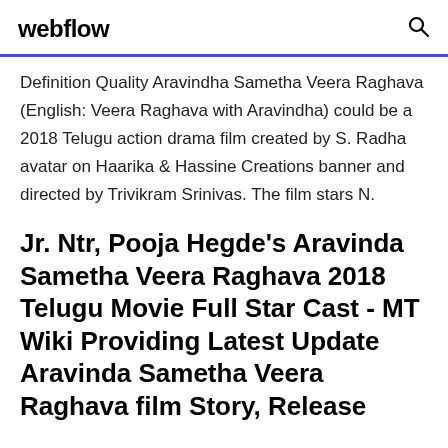webflow
Definition Quality Aravindha Sametha Veera Raghava (English: Veera Raghava with Aravindha) could be a 2018 Telugu action drama film created by S. Radha avatar on Haarika & Hassine Creations banner and directed by Trivikram Srinivas. The film stars N.
Jr. Ntr, Pooja Hegde's Aravinda Sametha Veera Raghava 2018 Telugu Movie Full Star Cast - MT Wiki Providing Latest Update Aravinda Sametha Veera Raghava film Story, Release